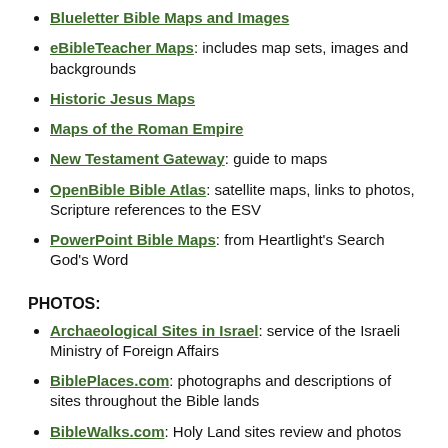Blueletter Bible Maps and Images
eBibleTeacher Maps: includes map sets, images and backgrounds
Historic Jesus Maps
Maps of the Roman Empire
New Testament Gateway: guide to maps
OpenBible Bible Atlas: satellite maps, links to photos, Scripture references to the ESV
PowerPoint Bible Maps: from Heartlight's Search God's Word
PHOTOS:
Archaeological Sites in Israel: service of the Israeli Ministry of Foreign Affairs
BiblePlaces.com: photographs and descriptions of sites throughout the Bible lands
BibleWalks.com: Holy Land sites review and photos
Great Commission Illustrated: PowerPoint